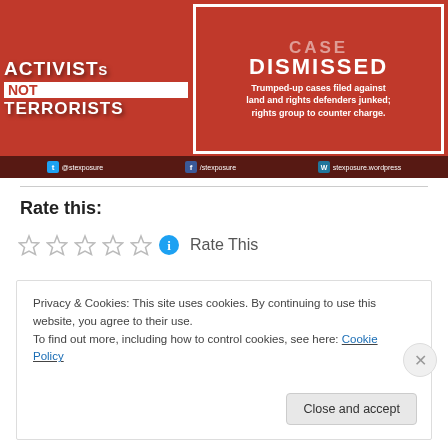[Figure (photo): Composite image with red background. Left side shows protest sign reading 'ACTIVISTS NOT TERRORISTS'. Right side shows a bordered box with text 'CASE DISMISSED - Trumped-up cases filed against land and rights defenders junked; rights group to counter charge.' Bottom bar shows social media handles: @stexposure on Twitter, /stexposure on Facebook, stexposure.wordpress on WordPress.]
Rate this:
Rate This
Privacy & Cookies: This site uses cookies. By continuing to use this website, you agree to their use.
To find out more, including how to control cookies, see here: Cookie Policy